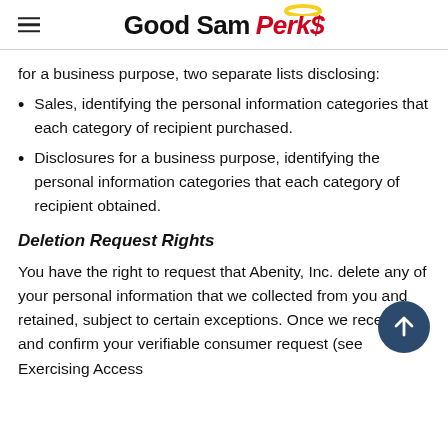Good Sam Perks
for a business purpose, two separate lists disclosing:
Sales, identifying the personal information categories that each category of recipient purchased.
Disclosures for a business purpose, identifying the personal information categories that each category of recipient obtained.
Deletion Request Rights
You have the right to request that Abenity, Inc. delete any of your personal information that we collected from you and retained, subject to certain exceptions. Once we receive and confirm your verifiable consumer request (see Exercising Access...